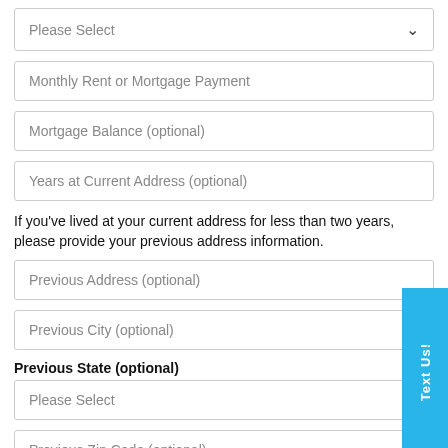Please Select
Monthly Rent or Mortgage Payment
Mortgage Balance (optional)
Years at Current Address (optional)
If you've lived at your current address for less than two years, please provide your previous address information.
Previous Address (optional)
Previous City (optional)
Previous State (optional)
Please Select
Previous Zip Code (optional)